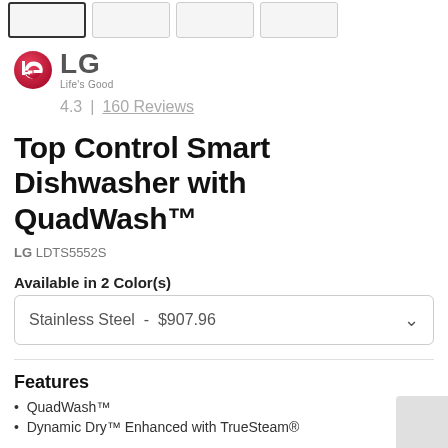[Figure (other): Thumbnail strip of product images, first one selected with dark border]
[Figure (logo): LG logo — red circle with LG letters, brand name LG in gray bold, tagline Life's Good]
4.3  |  160 Reviews
Top Control Smart Dishwasher with QuadWash™
LG LDTS5552S
Available in 2 Color(s)
Stainless Steel  -  $907.96
Features
QuadWash™
Dynamic Dry™ Enhanced with TrueSteam®